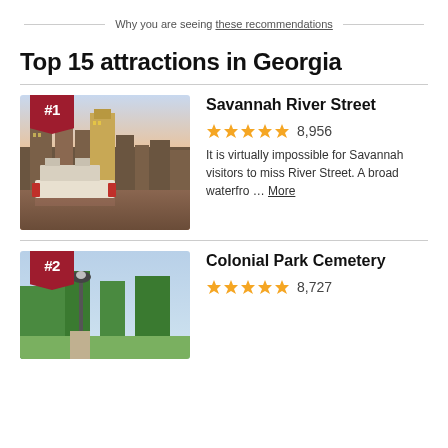Why you are seeing these recommendations
Top 15 attractions in Georgia
[Figure (photo): Savannah River Street waterfront with a riverboat and city skyline at sunset, with #1 badge]
Savannah River Street
★★★★★ 8,956
It is virtually impossible for Savannah visitors to miss River Street. A broad waterfro ... More
[Figure (photo): Colonial Park Cemetery with trees and lamp post, with #2 badge]
Colonial Park Cemetery
★★★★★ 8,727